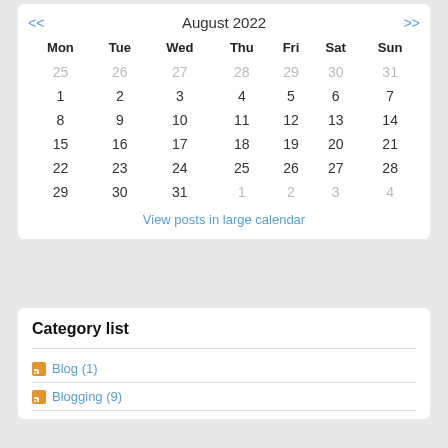| Mon | Tue | Wed | Thu | Fri | Sat | Sun |
| --- | --- | --- | --- | --- | --- | --- |
| 25 | 26 | 27 | 28 | 29 | 30 | 31 |
| 1 | 2 | 3 | 4 | 5 | 6 | 7 |
| 8 | 9 | 10 | 11 | 12 | 13 | 14 |
| 15 | 16 | 17 | 18 | 19 | 20 | 21 |
| 22 | 23 | 24 | 25 | 26 | 27 | 28 |
| 29 | 30 | 31 | 1 | 2 | 3 | 4 |
View posts in large calendar
Category list
Blog (1)
Blogging (9)